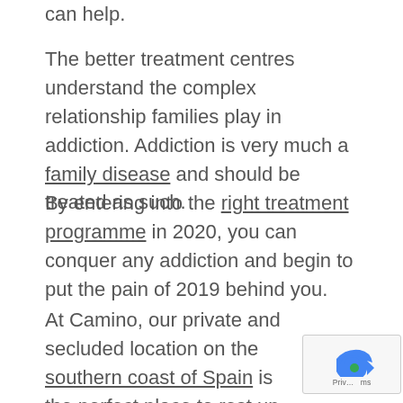can help.
The better treatment centres understand the complex relationship families play in addiction. Addiction is very much a family disease and should be treated as such.
By entering into the right treatment programme in 2020, you can conquer any addiction and begin to put the pain of 2019 behind you.
At Camino, our private and secluded location on the southern coast of Spain is the perfect place to rest up over the holidays and get healed for the new year.